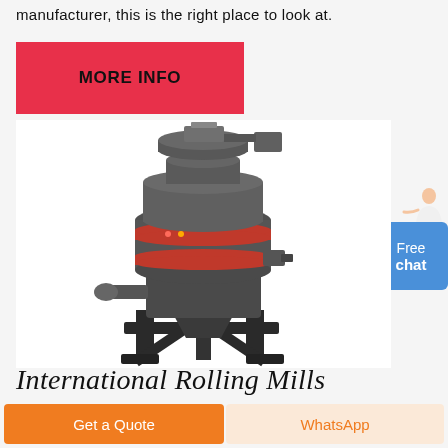manufacturer, this is the right place to look at.
[Figure (other): Red MORE INFO button]
[Figure (photo): Industrial rolling mill machine - large gray cylindrical grinding machine with red accent bands, electric motor on top, mounted on black metal frame stand]
[Figure (other): Person icon with Free chat button in blue]
International Rolling Mills
[Figure (other): Get a Quote orange button]
[Figure (other): WhatsApp button]